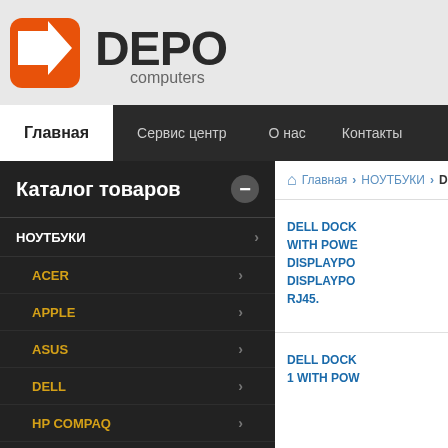[Figure (logo): DEPO Computers logo with orange/red arrow icon on left and bold DEPO text with 'computers' subtitle]
Главная | Сервис центр | О нас | Контакты
Каталог товаров
НОУТБУКИ
ACER
APPLE
ASUS
DELL
HP COMPAQ
HUAWEI
LENOVO (IBM)
Главная > НОУТБУКИ > DELL
DELL DOCK WITH POWER DISPLAYPO DISPLAYPO RJ45.
DELL DOCK 1 WITH POW